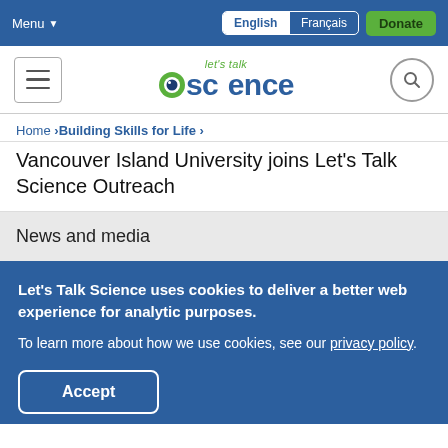Menu | English | Français | Donate
[Figure (logo): Let's Talk Science logo with eye graphic]
Home > Building Skills for Life >
Vancouver Island University joins Let's Talk Science Outreach
News and media
Let's Talk Science uses cookies to deliver a better web experience for analytic purposes. To learn more about how we use cookies, see our privacy policy.
Accept